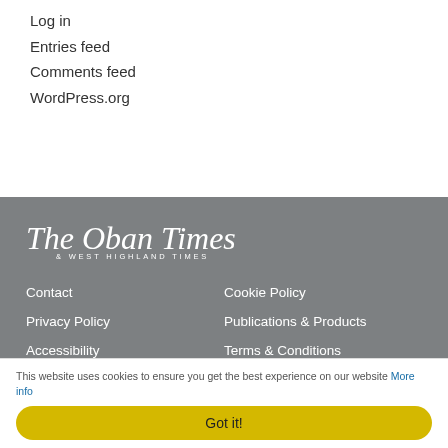Log in
Entries feed
Comments feed
WordPress.org
[Figure (logo): The Oban Times & West Highland Times newspaper logo in white on grey background]
Contact
Cookie Policy
Privacy Policy
Publications & Products
Accessibility
Terms & Conditions
Advert Enquiry
Competitions
Digital Edition
Support For This Website
This website uses cookies to ensure you get the best experience on our website More info
Got it!